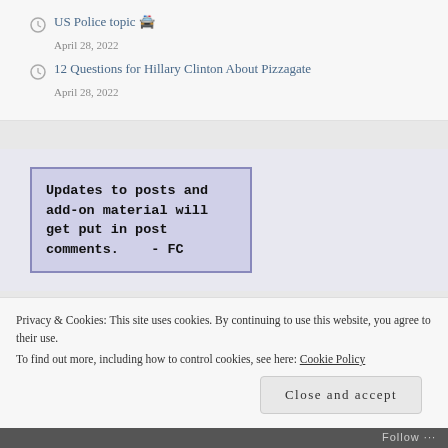US Police topic 🚔 — April 28, 2022
12 Questions for Hillary Clinton About Pizzagate — April 28, 2022
Updates to posts and add-on material will get put in post comments.    - FC
Privacy & Cookies: This site uses cookies. By continuing to use this website, you agree to their use.
To find out more, including how to control cookies, see here: Cookie Policy
Close and accept